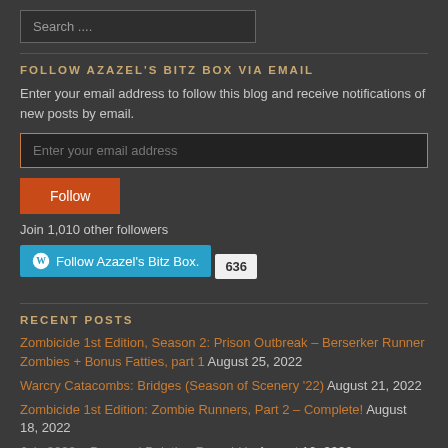Search ....
FOLLOW AZAZEL'S BITZ BOX VIA EMAIL
Enter your email address to follow this blog and receive notifications of new posts by email.
Enter your email address
Follow
Join 1,010 other followers
Follow Azazel's Bitz Box. 636
RECENT POSTS
Zombicide 1st Edition, Season 2: Prison Outbreak – Berserker Runner Zombies + Bonus Fatties, part 1 August 25, 2022
Warcry Catacombs: Bridges (Season of Scenery '22) August 21, 2022
Zombicide 1st Edition: Zombie Runners, Part 2 – Complete! August 18, 2022
July 2022 – Personal Painting Round-Up August 10, 2022
Fantasy Flight – Lord of the Rings: Journeys in Middle-Earth Spreading War –